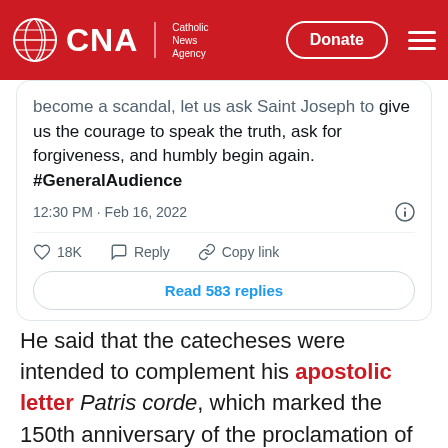CNA | Catholic News Agency — Donate
[Figure (screenshot): Embedded tweet showing truncated text: 'become a scandal, let us ask Saint Joseph to give us the courage to speak the truth, ask for forgiveness, and humbly begin again. #GeneralAudience' — 12:30 PM · Feb 16, 2022 — 18K likes, Reply, Copy link — Read 583 replies]
He said that the catecheses were intended to complement his apostolic letter Patris corde, which marked the 150th anniversary of the proclamation of St. Joseph as patron of the Catholic Church by Blessed Pius IX.